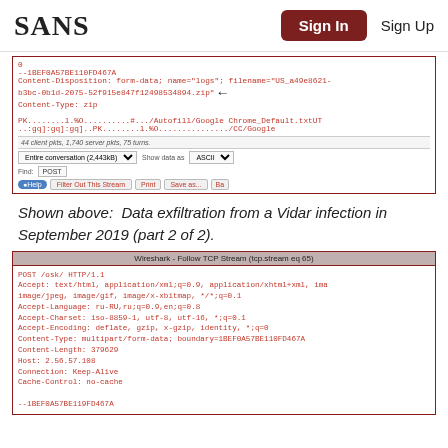SANS  Sign In  Sign Up
[Figure (screenshot): Wireshark Follow TCP Stream screenshot showing data exfiltration - top portion with multipart form-data POST containing zip file upload, with arrow annotation pointing to filename. Shows conversation stats, encoding controls, Find POST field, and action buttons.]
Shown above:  Data exfiltration from a Vidar infection in September 2019 (part 2 of 2).
[Figure (screenshot): Wireshark Follow TCP Stream (tcp.stream eq 65) screenshot showing POST /osk/ HTTP/1.1 request with headers including Accept, Accept-Language, Accept-Charset, Accept-Encoding, Content-Type multipart/form-data with boundary 1BEF0A57BE110FD467A, Content-Length 379629, Host 2.56.57.108, Connection Keep-Alive, Cache-Control no-cache, followed by boundary marker.]